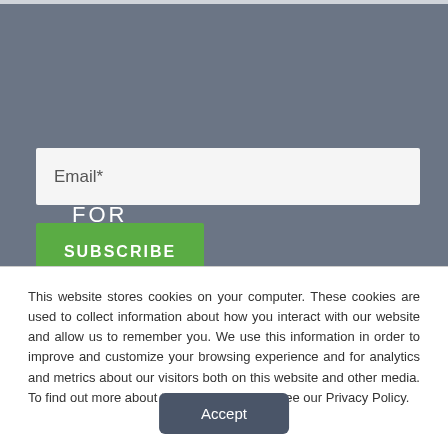SUBSCRIBE FOR UPDATES
Email*
SUBSCRIBE
This website stores cookies on your computer. These cookies are used to collect information about how you interact with our website and allow us to remember you. We use this information in order to improve and customize your browsing experience and for analytics and metrics about our visitors both on this website and other media. To find out more about the cookies we use, see our Privacy Policy.
Accept